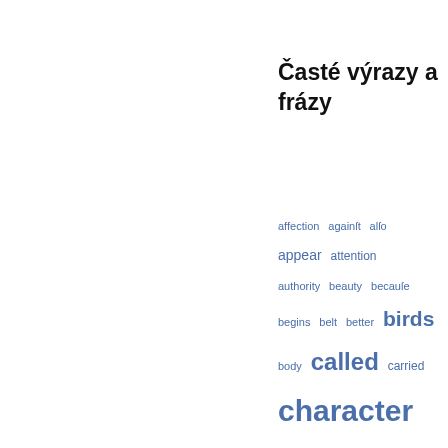Časté výrazy a frázy
[Figure (infographic): Word cloud featuring frequently used words and phrases in varying font sizes, displayed in blue on white background. Words include: affection, against, also, appear, attention, authority, beauty, because, begins, belt, better, birds, body, called, carried, character, common, consider, continued, course, death, duty, England, equally, eyes, fall, fame, father, first, follow, some, give, given, hand, hath, head, heart, himself, honour, human, Italy, keep, kind, king]